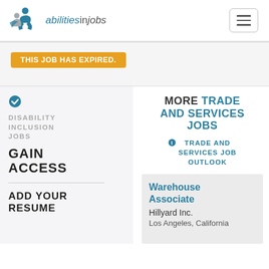abilities in jobs
THIS JOB HAS EXPIRED.
DISABILITY INCLUSION JOBS GAIN ACCESS
ADD YOUR RESUME
MORE TRADE AND SERVICES JOBS
TRADE AND SERVICES JOB OUTLOOK
Warehouse Associate
Hillyard Inc.
Los Angeles, California